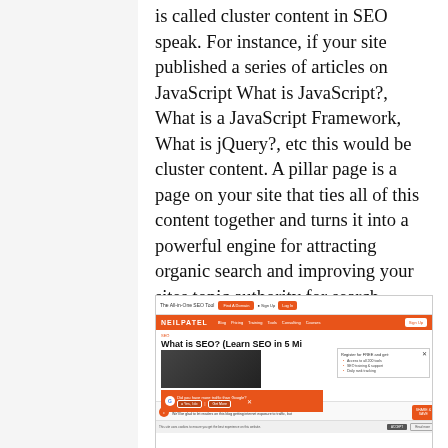is called cluster content in SEO speak. For instance, if your site published a series of articles on JavaScript What is JavaScript?, What is a JavaScript Framework, What is jQuery?, etc this would be cluster content. A pillar page is a page on your site that ties all of this content together and turns it into a powerful engine for attracting organic search and improving your sites topic authority for search engine algorithms.
[Figure (screenshot): Screenshot of Neil Patel website showing 'What is SEO? (Learn SEO in 5 Mi...' article page with navigation bar, modal popup, Google ads overlay, email capture bar, and cookie consent bar.]